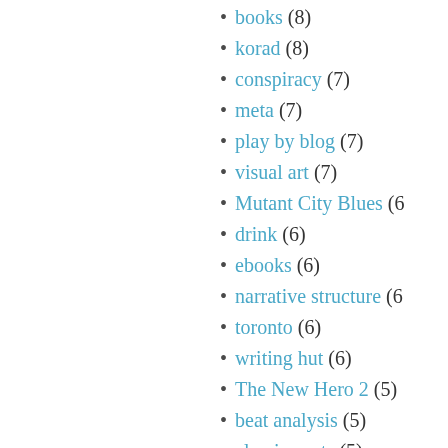books (8)
korad (8)
conspiracy (7)
meta (7)
play by blog (7)
visual art (7)
Mutant City Blues (6)
drink (6)
ebooks (6)
narrative structure (6)
toronto (6)
writing hut (6)
The New Hero 2 (5)
beat analysis (5)
classic posts (5)
language (5)
maps (5)
mythology (5)